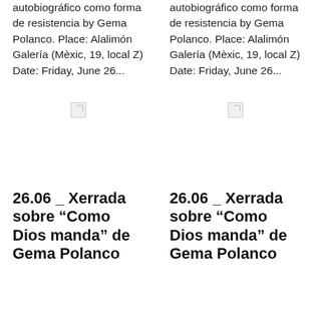autobiográfico como forma de resistencia by Gema Polanco. Place: Alalimón Galería (Mèxic, 19, local Z) Date: Friday, June 26...
autobiográfico como forma de resistencia by Gema Polanco. Place: Alalimón Galería (Mèxic, 19, local Z) Date: Friday, June 26...
[Figure (photo): Broken image placeholder left column]
[Figure (photo): Broken image placeholder right column]
26.06 _ Xerrada sobre “Como Dios manda” de Gema Polanco
26.06 _ Xerrada sobre “Como Dios manda” de Gema Polanco